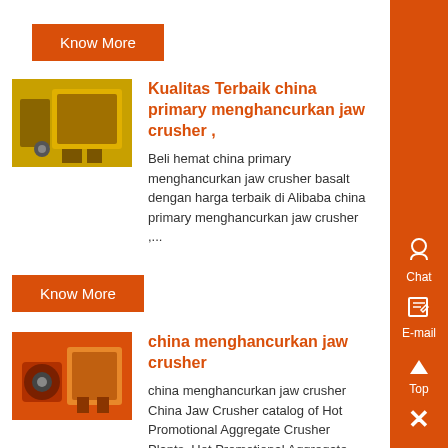Know More
[Figure (photo): Industrial jaw crusher machine, yellow and metal, viewed from side]
Kualitas Terbaik china primary menghancurkan jaw crusher ,
Beli hemat china primary menghancurkan jaw crusher basalt dengan harga terbaik di Alibaba china primary menghancurkan jaw crusher ,...
Know More
[Figure (photo): Industrial jaw crusher machine close-up, orange and metal components]
china menghancurkan jaw crusher
china menghancurkan jaw crusher China Jaw Crusher catalog of Hot Promotional Aggregate Crusher Plants, Hot Promotional Aggregate Crash Plant Africa Stone Crusher provided by China manufacturer - Shenzhen DENP Industrial Co, , Send ,...
Know More